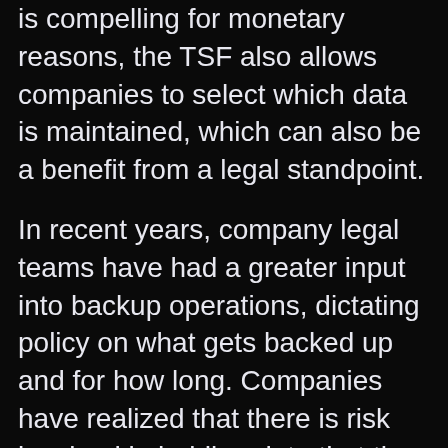is compelling for monetary reasons, the TSF also allows companies to select which data is maintained, which can also be a benefit from a legal standpoint.
In recent years, company legal teams have had a greater input into backup operations, dictating policy on what gets backed up and for how long. Companies have realized that there is risk involved in holding data that they don't need to hold.
“There’s case study after case study in the legal market where a company held on to something they didn’t need to, and they later got sued,” says Strickler. “Had it been deleted, things would have potentially been